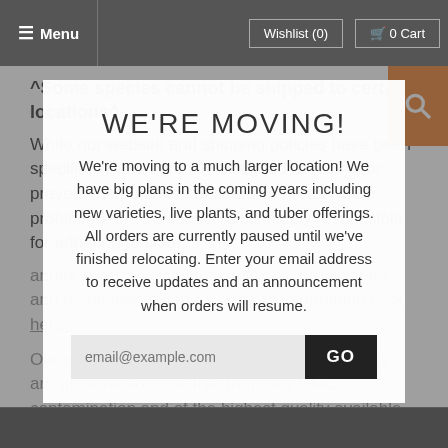Menu   Wishlist (0)   0 Cart
^Some species cannot be shipped to certain locations^
While our website and shipping policies have been specifically and carefully designed to restrict or prevent the purchase of seeds to areas where prohibited, the purchaser is ultimately responsible for adhering to state and/or other applicable restrictions, prohibitions, and recommendations. For more information click here.
Our open-pollinated Bloomsdale Spinach seeds are guaranteed to be free from any GMO contamination and of the highest quality available.
[Figure (screenshot): Modal popup overlay with title 'WE'RE MOVING!' and body text about moving to a larger location, with email input field and GO button]
WE'RE MOVING!
We're moving to a much larger location! We have big plans in the coming years including new varieties, live plants, and tuber offerings. All orders are currently paused until we've finished relocating. Enter your email address to receive updates and an announcement when orders will resume.